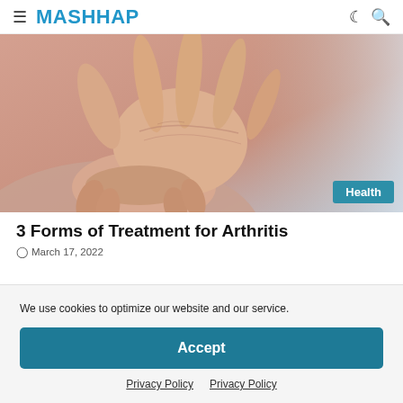MASHHAP
[Figure (photo): Close-up of a person's hands, one hand grasping the other wrist, suggesting arthritis or joint pain. Person wearing a light pink/mauve top. Blurred background.]
3 Forms of Treatment for Arthritis
March 17, 2022
We use cookies to optimize our website and our service.
Accept
Privacy Policy   Privacy Policy